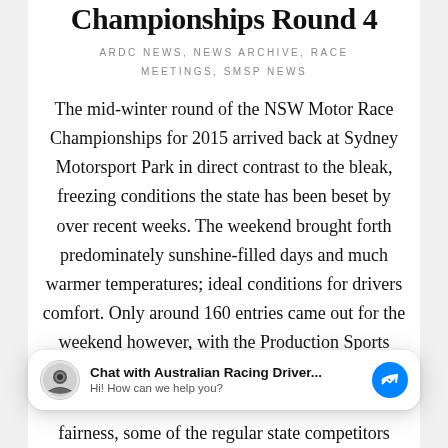Championships Round 4
ARDC NEWS, NEWS ARCHIVE, RACE MEETINGS, SMSP NEWS
The mid-winter round of the NSW Motor Race Championships for 2015 arrived back at Sydney Motorsport Park in direct contrast to the bleak, freezing conditions the state has been beset by over recent weeks. The weekend brought forth predominately sunshine-filled days and much warmer temperatures; ideal conditions for drivers comfort. Only around 160 entries came out for the weekend however, with the Production Sports
[Figure (other): Facebook Messenger chat widget with Australian Racing Driver logo, text 'Chat with Australian Racing Driver...' and 'Hi! How can we help you?', and a blue Messenger icon button]
fairness, some of the regular state competitors